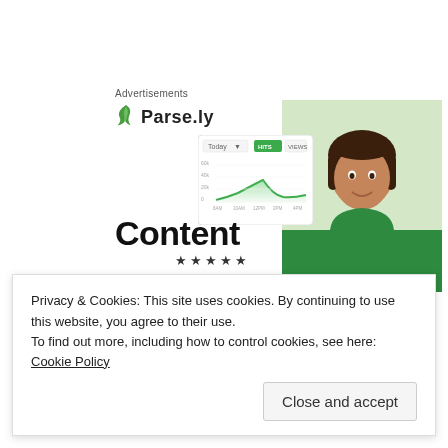Advertisements
[Figure (logo): Parse.ly logo with green leaf icon and bold text]
[Figure (screenshot): Parse.ly dashboard screenshot showing an area/line chart with green gradient]
[Figure (photo): Woman with brown hair wearing green top, smiling, indoor background]
Content
★★★★★
Review:
Privacy & Cookies: This site uses cookies. By continuing to use this website, you agree to their use.
To find out more, including how to control cookies, see here: Cookie Policy
Close and accept